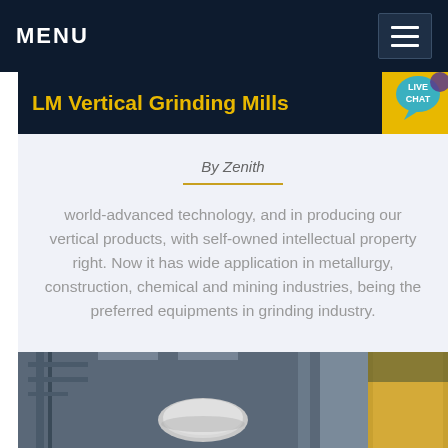MENU
LM Vertical Grinding Mills
By Zenith
world-advanced technology, and in producing our vertical products, with self-owned intellectual property right. Now it has wide application in metallurgy, construction, chemical and mining industries, being the preferred equipments in grinding industry.
[Figure (photo): Industrial interior showing vertical grinding mill equipment and piping in a factory/plant setting]